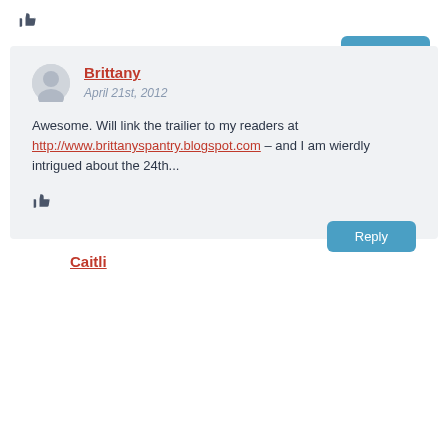[Figure (other): Thumbs up icon]
Reply
Brittany
April 21st, 2012

Awesome. Will link the trailier to my readers at http://www.brittanyspantry.blogspot.com – and I am wierdly intrigued about the 24th...
[Figure (other): Thumbs up icon]
Reply
Caitli...